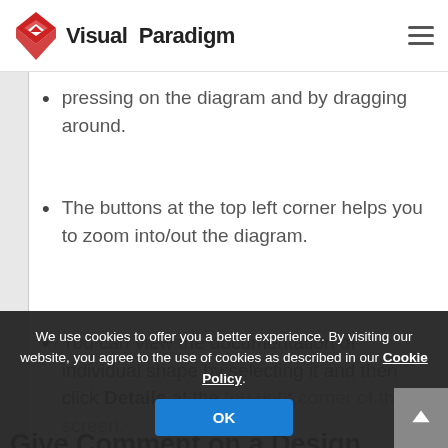Visual Paradigm
pressing on the diagram and by dragging around.
The buttons at the top left corner helps you to zoom into/out the diagram.
You can view the documentation of individual shape by selecting it and then click Details at the top right corner of the screen.
Give Comment on a Design
Let's say you have published the you can also
We use cookies to offer you a better experience. By visiting our website, you agree to the use of cookies as described in our Cookie Policy.